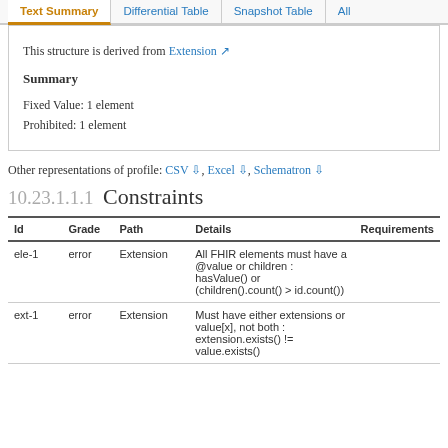Text Summary | Differential Table | Snapshot Table | All
This structure is derived from Extension
Summary
Fixed Value: 1 element
Prohibited: 1 element
Other representations of profile: CSV, Excel, Schematron
10.23.1.1.1 Constraints
| Id | Grade | Path | Details | Requirements |
| --- | --- | --- | --- | --- |
| ele-1 | error | Extension | All FHIR elements must have a @value or children : hasValue() or (children().count() > id.count()) |  |
| ext-1 | error | Extension | Must have either extensions or value[x], not both : extension.exists() != value.exists() |  |